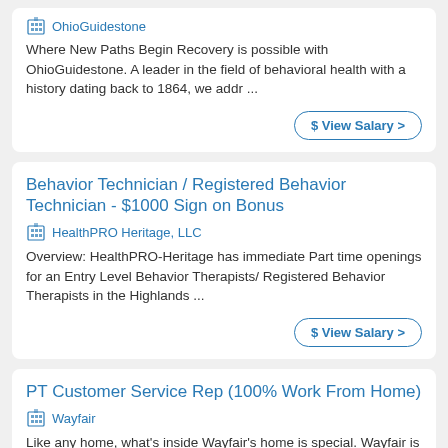OhioGuidestone
Where New Paths Begin Recovery is possible with OhioGuidestone. A leader in the field of behavioral health with a history dating back to 1864, we addr ...
$ View Salary >
Behavior Technician / Registered Behavior Technician - $1000 Sign on Bonus
HealthPRO Heritage, LLC
Overview: HealthPRO-Heritage has immediate Part time openings for an Entry Level Behavior Therapists/ Registered Behavior Therapists in the Highlands ...
$ View Salary >
PT Customer Service Rep (100% Work From Home)
Wayfair
Like any home, what's inside Wayfair's home is special. Wayfair is home to great people, great ideas and possibly YOU! Customer Service Reps @ Wayfair...